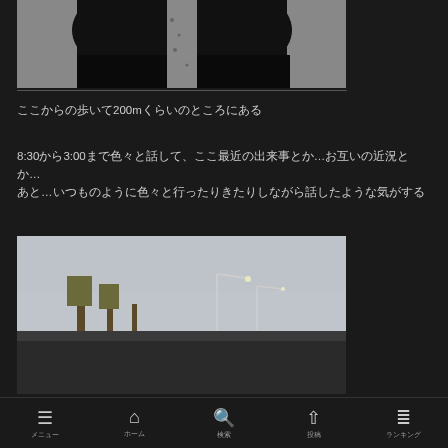[Figure (photo): Photo of someone's legs/feet from above standing on gravel/asphalt, dark pants and shoes visible]
ここからの歩いて200mくらいのところにある
8:30から3:00まで色々と話して、ここ最近の出来事とか…お互いの近況とか…
あと…いつものように色々と行ったりきたりしながら話したような気がする
[Figure (photo): Photo taken from inside a car looking forward through windshield showing a rear-view mirror and road with street lamps and bare trees]
≡  ⌂  🔍  ↑  ≡